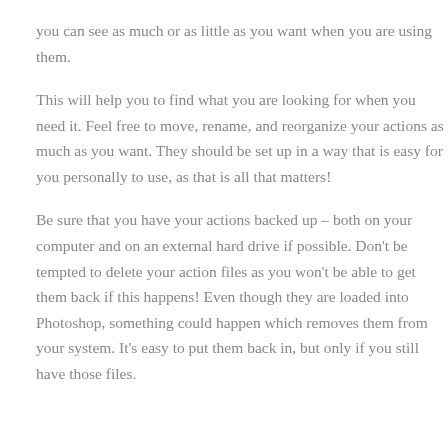you can see as much or as little as you want when you are using them.
This will help you to find what you are looking for when you need it. Feel free to move, rename, and reorganize your actions as much as you want. They should be set up in a way that is easy for you personally to use, as that is all that matters!
Be sure that you have your actions backed up – both on your computer and on an external hard drive if possible. Don't be tempted to delete your action files as you won't be able to get them back if this happens! Even though they are loaded into Photoshop, something could happen which removes them from your system. It's easy to put them back in, but only if you still have those files.